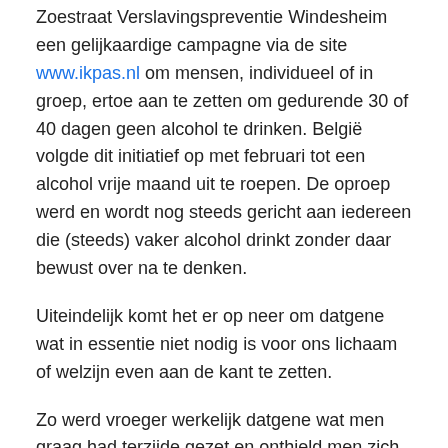Zoestraat Verslavingspreventie Windesheim een gelijkaardige campagne via de site www.ikpas.nl om mensen, individueel of in groep, ertoe aan te zetten om gedurende 30 of 40 dagen geen alcohol te drinken. België volgde dit initiatief op met februari tot een alcohol vrije maand uit te roepen. De oproep werd en wordt nog steeds gericht aan iedereen die (steeds) vaker alcohol drinkt zonder daar bewust over na te denken.
Uiteindelijk komt het er op neer om datgene wat in essentie niet nodig is voor ons lichaam of welzijn even aan de kant te zetten.
Zo werd vroeger werkelijk datgene wat men graag had terzijde gezet en onthield men zich werkelijk van die dingen die toch zo bekoorlijk lijken.
[Figure (photo): Image placeholder showing Berouw_Francisco-Goya.jpg]